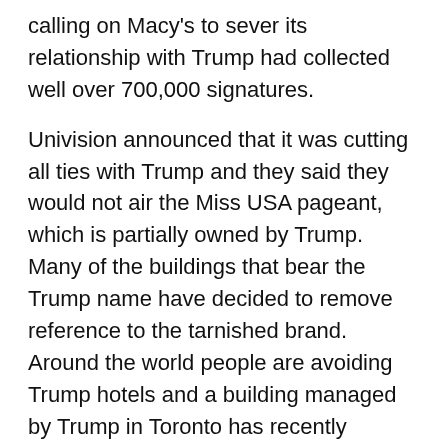calling on Macy's to sever its relationship with Trump had collected well over 700,000 signatures.
Univision announced that it was cutting all ties with Trump and they said they would not air the Miss USA pageant, which is partially owned by Trump.  Many of the buildings that bear the Trump name have decided to remove reference to the tarnished brand. Around the world people are avoiding Trump hotels and a building managed by Trump in Toronto has recently declared bankruptcy.
Many Republicans vowed not to support Trump before during and after he won the GOP's nomination for president. He was deserted by even more Republicans after he was caught on tape laughing about sexually assaulting women.
Even in his home state and in his home city politicians are running from him like the plaque. This includes former New